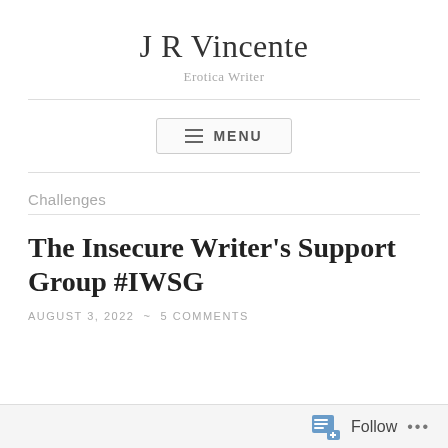J R Vincente
Erotica Writer
≡ MENU
Challenges
The Insecure Writer's Support Group #IWSG
AUGUST 3, 2022 ~ 5 COMMENTS
Follow ...